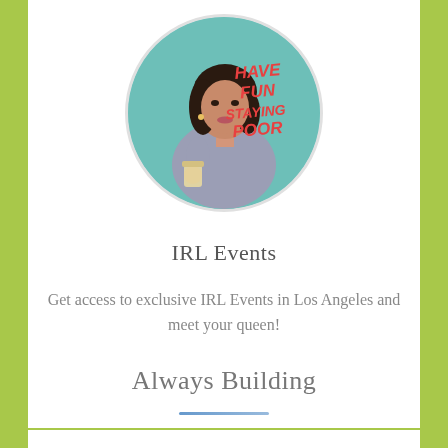[Figure (photo): Circular profile photo of a young woman in a gray top holding a drink, with teal background and red text overlay reading 'HAVE FUN STAYING POOR']
IRL Events
Get access to exclusive IRL Events in Los Angeles and meet your queen!
Always Building